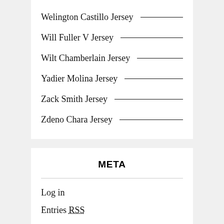Welington Castillo Jersey
Will Fuller V Jersey
Wilt Chamberlain Jersey
Yadier Molina Jersey
Zack Smith Jersey
Zdeno Chara Jersey
META
Log in
Entries RSS
Comments RSS